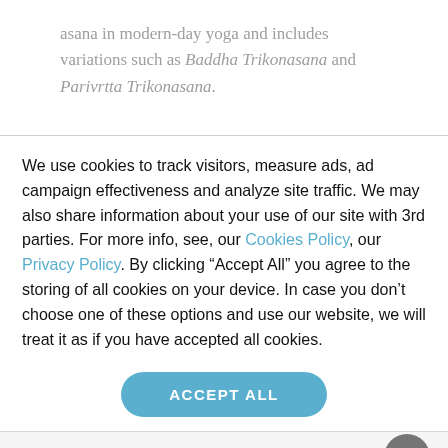asana in modern-day yoga and includes variations such as Baddha Trikonasana and Parivrtta Trikonasana.
We use cookies to track visitors, measure ads, ad campaign effectiveness and analyze site traffic. We may also share information about your use of our site with 3rd parties. For more info, see, our Cookies Policy, our Privacy Policy. By clicking “Accept All” you agree to the storing of all cookies on your device. In case you don’t choose one of these options and use our website, we will treat it as if you have accepted all cookies.
ACCEPT ALL
Start the pose by standing upright,